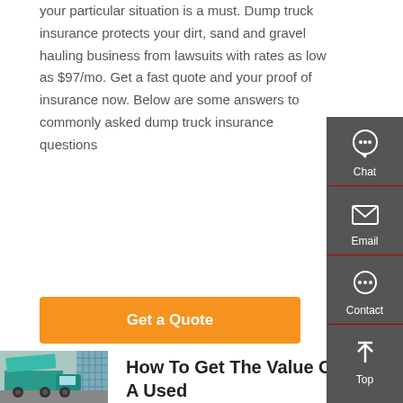your particular situation is a must. Dump truck insurance protects your dirt, sand and gravel hauling business from lawsuits with rates as low as $97/mo. Get a fast quote and your proof of insurance now. Below are some answers to commonly asked dump truck insurance questions
Get a Quote
[Figure (photo): Photo of a teal/green dump truck parked near a building]
How To Get The Value Of A Used